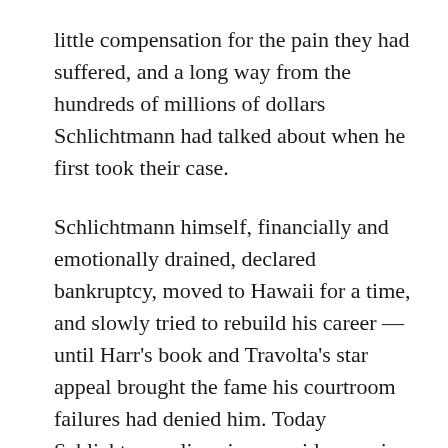little compensation for the pain they had suffered, and a long way from the hundreds of millions of dollars Schlichtmann had talked about when he first took their case.
Schlichtmann himself, financially and emotionally drained, declared bankruptcy, moved to Hawaii for a time, and slowly tried to rebuild his career — until Harr's book and Travolta's star appeal brought the fame his courtroom failures had denied him. Today Schlichtmann lives in a seaside mansion in tony Beverly Farms and has achieved, through the cult of celebrity, the riches and acclaim he had always craved. But his former clients are not rich, and their fame is based on experiencing the worst thing that can ever